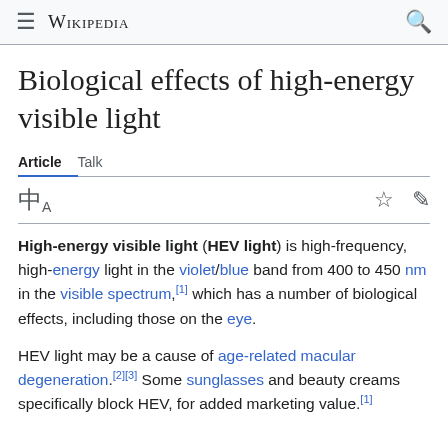≡ WIKIPEDIA 🔍
Biological effects of high-energy visible light
Article  Talk
🌐A  ☆  ✏
High-energy visible light (HEV light) is high-frequency, high-energy light in the violet/blue band from 400 to 450 nm in the visible spectrum,[1] which has a number of biological effects, including those on the eye.
HEV light may be a cause of age-related macular degeneration.[2][3] Some sunglasses and beauty creams specifically block HEV, for added marketing value.[1]